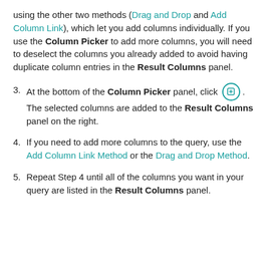using the other two methods (Drag and Drop and Add Column Link), which let you add columns individually. If you use the Column Picker to add more columns, you will need to deselect the columns you already added to avoid having duplicate column entries in the Result Columns panel.
3. At the bottom of the Column Picker panel, click [icon]. The selected columns are added to the Result Columns panel on the right.
4. If you need to add more columns to the query, use the Add Column Link Method or the Drag and Drop Method.
5. Repeat Step 4 until all of the columns you want in your query are listed in the Result Columns panel.